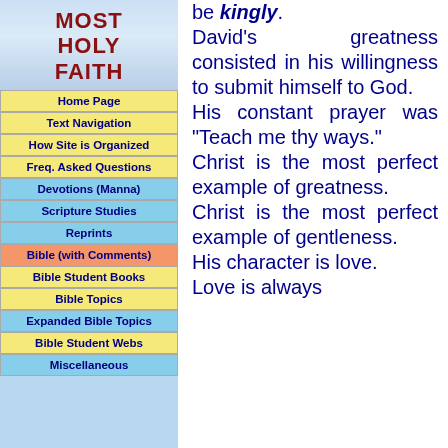[Figure (logo): Most Holy Faith logo with red text on light blue gradient background]
Home Page
Text Navigation
How Site is Organized
Freq. Asked Questions
Devotions (Manna)
Scripture Studies
Reprints
Bible (with Comments)
Bible Student Books
Bible Topics
Expanded Bible Topics
Bible Student Webs
Miscellaneous
be kingly. David's greatness consisted in his willingness to submit himself to God. His constant prayer was "Teach me thy ways." Christ is the most perfect example of greatness. Christ is the most perfect example of gentleness. His character is love. Love is always